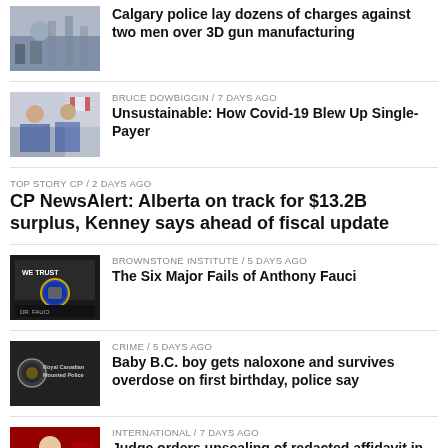[Figure (photo): Press conference photo with people and microphones]
Calgary police lay dozens of charges against two men over 3D gun manufacturing
[Figure (photo): People seated at a table, Canadian flag visible]
BRUCE DOWBIGGIN / 7 days ago
Unsustainable: How Covid-19 Blew Up Single-Payer
TOP STORY CP / 2 days ago
CP NewsAlert: Alberta on track for $13.2B surplus, Kenney says ahead of fiscal update
[Figure (photo): We Trust sign with Dr. Fauci image]
BROWNSTONE INSTITUTE / 5 days ago
The Six Major Fails of Anthony Fauci
[Figure (photo): Royal Canadian Mounted Police sign]
CRIME / 5 days ago
Baby B.C. boy gets naloxone and survives overdose on first birthday, police say
[Figure (photo): Man speaking at podium]
INTERNATIONAL / 7 days ago
Judge orders unsealing of redacted affidavit in Trump search